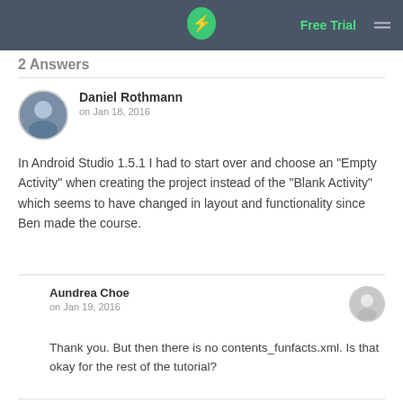Free Trial
2 Answers
Daniel Rothmann
on Jan 18, 2016
In Android Studio 1.5.1 I had to start over and choose an "Empty Activity" when creating the project instead of the "Blank Activity" which seems to have changed in layout and functionality since Ben made the course.
Aundrea Choe
on Jan 19, 2016
Thank you. But then there is no contents_funfacts.xml. Is that okay for the rest of the tutorial?